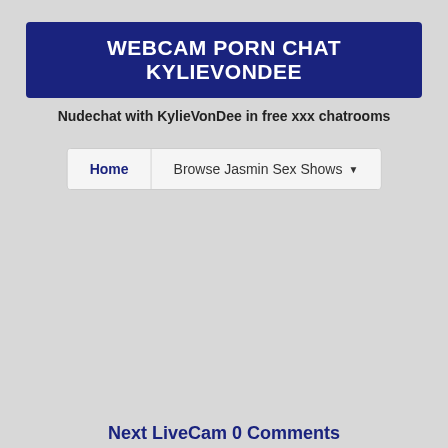WEBCAM PORN CHAT KYLIEVONDEE
Nudechat with KylieVonDee in free xxx chatrooms
Home   Browse Jasmin Sex Shows ▼
Next LiveCam 0 Comments